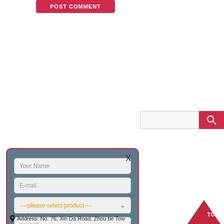[Figure (screenshot): POST COMMENT button — red/crimson rounded rectangle with white uppercase bold text]
[Figure (screenshot): Modal contact form dialog with steel-blue background, red border, close X, fields for Your Name, E-mail, product dropdown, capacity, and SUBMIT button]
[Figure (screenshot): Search bar with input field and red search button with magnifier icon]
CONTACT INFORMATION
Address: No. 76, Xin Da Road, Zhou tie Tow...